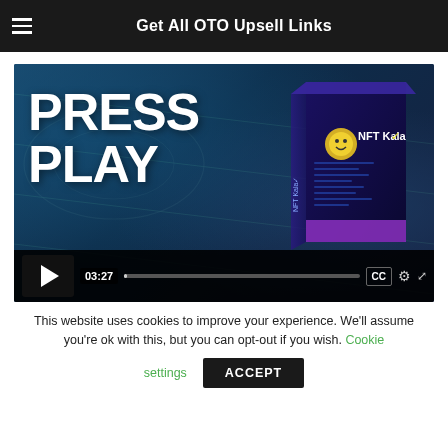Get All OTO Upsell Links
[Figure (screenshot): Video thumbnail showing 'PRESS PLAY' text on the left over a money background, with an NFT Kala product box on the right. Video player controls visible at the bottom with a play button, timestamp 03:27, progress bar, CC, settings gear, and fullscreen icons.]
This website uses cookies to improve your experience. We'll assume you're ok with this, but you can opt-out if you wish. Cookie settings ACCEPT